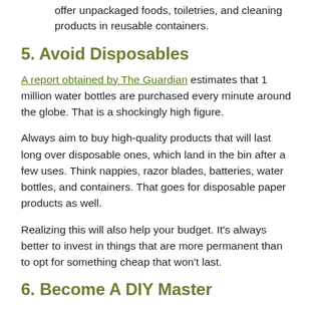offer unpackaged foods, toiletries, and cleaning products in reusable containers.
5. Avoid Disposables
A report obtained by The Guardian estimates that 1 million water bottles are purchased every minute around the globe. That is a shockingly high figure.
Always aim to buy high-quality products that will last long over disposable ones, which land in the bin after a few uses. Think nappies, razor blades, batteries, water bottles, and containers. That goes for disposable paper products as well.
Realizing this will also help your budget. It's always better to invest in things that are more permanent than to opt for something cheap that won't last.
6. Become A DIY Master